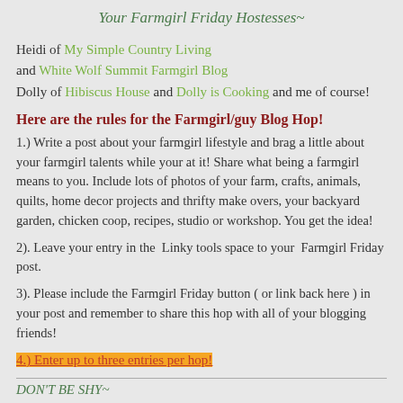Your Farmgirl Friday Hostesses~
Heidi of My Simple Country Living and White Wolf Summit Farmgirl Blog Dolly of Hibiscus House and Dolly is Cooking and me of course!
Here are the rules for the Farmgirl/guy Blog Hop!
1.) Write a post about your farmgirl lifestyle and brag a little about your farmgirl talents while your at it! Share what being a farmgirl means to you. Include lots of photos of your farm, crafts, animals,  quilts, home decor projects and thrifty make overs, your backyard garden, chicken coop, recipes, studio or workshop. You get the idea!
2). Leave your entry in the  Linky tools space to your  Farmgirl Friday post.
3). Please include the Farmgirl Friday button ( or link back here ) in your post and remember to share this hop with all of your blogging friends!
4.) Enter up to three entries per hop!
DON'T BE SHY~